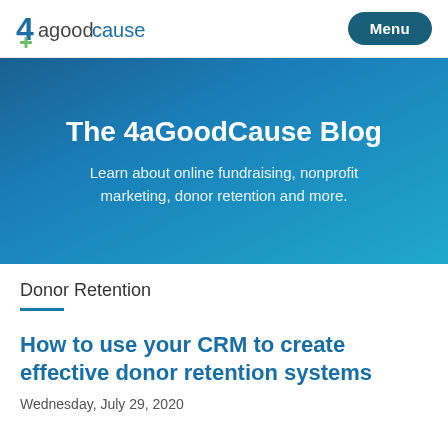4agoodcause | Menu
The 4aGoodCause Blog
Learn about online fundraising, nonprofit marketing, donor retention and more.
Donor Retention
How to use your CRM to create effective donor retention systems
Wednesday, July 29, 2020